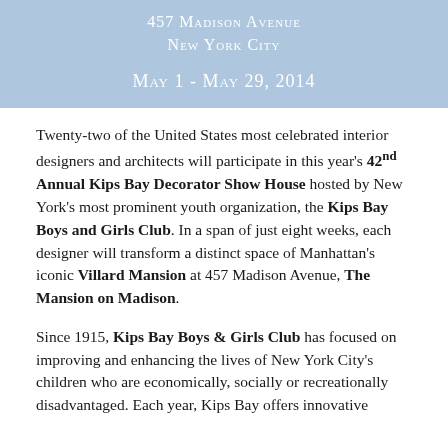457 Madison Avenue
New York City
May 1 - May 29, 2014
Twenty-two of the United States most celebrated interior designers and architects will participate in this year's 42nd Annual Kips Bay Decorator Show House hosted by New York's most prominent youth organization, the Kips Bay Boys and Girls Club. In a span of just eight weeks, each designer will transform a distinct space of Manhattan's iconic Villard Mansion at 457 Madison Avenue, The Mansion on Madison.
Since 1915, Kips Bay Boys & Girls Club has focused on improving and enhancing the lives of New York City's children who are economically, socially or recreationally disadvantaged. Each year, Kips Bay offers innovative